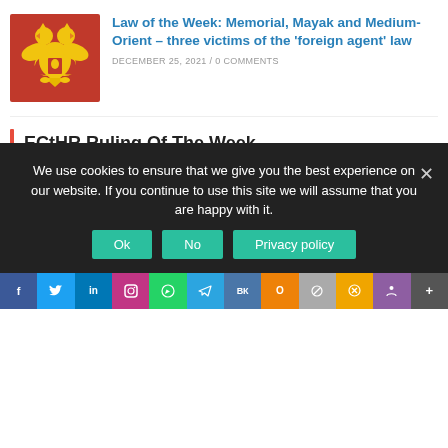[Figure (illustration): Russian coat of arms (double-headed eagle) on red background]
Law of the Week: Memorial, Mayak and Medium-Orient – three victims of the 'foreign agent' law
DECEMBER 25, 2021 / 0 COMMENTS
ECtHR Ruling Of The Week
This week the ECtHR handed down one judgment in relation to Russia finding a violation of Convention Article 8
DECEMBER 25, 2021 / 0 COMMENTS
Remember The Date
We use cookies to ensure that we give you the best experience on our website. If you continue to use this site we will assume that you are happy with it.